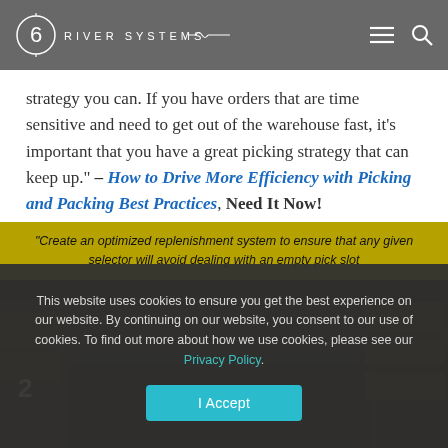6 RIVER SYSTEMS
strategy you can. If you have orders that are time sensitive and need to get out of the warehouse fast, it’s important that you have a great picking strategy that can keep up.” – How to Drive More Efficiency with Picking and Packing Best Practices, Need It Now!
[Figure (screenshot): Yellow quote block with text: 'Create an optimized replenishment system to ensure that any given selector will avoid dealing with an empty pick slot...' overlaid on warehouse background image]
This website uses cookies to ensure you get the best experience on our website. By continuing on our website, you consent to our use of cookies. To find out more about how we use cookies, please see our Privacy Policy.
I Accept